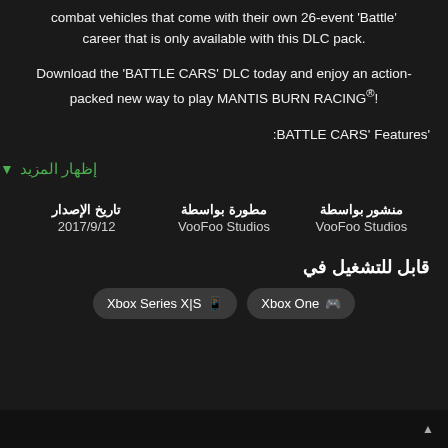combat vehicles that come with their own 26-event 'Battle' career that is only available with this DLC pack.
Download the 'BATTLE CARS' DLC today and enjoy an action-packed new way to play MANTIS BURN RACING!®
'BATTLE CARS' Features:
إظهار المزيد
منشور بواسطة: VooFoo Studios | مطورة بواسطة: VooFoo Studios | تاريخ الإصدار: 2017/9/12
قابل للتشغيل في
Xbox Series X|S  Xbox One